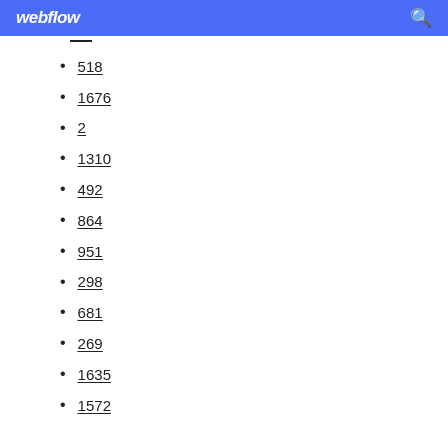webflow
518
1676
2
1310
492
864
951
298
681
269
1635
1572